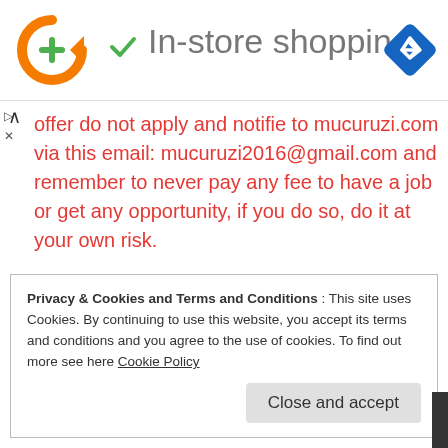[Figure (logo): Orange circular arrow logo with green plus sign, followed by green checkmark and gray 'In-store shopping' text, and a blue diamond navigation icon on the right]
offer do not apply and notifie to mucuruzi.com via this email: mucuruzi2016@gmail.com and remember to never pay any fee to have a job or get any opportunity, if you do so, do it at your own risk.
Privacy & Cookies and Terms and Conditions : This site uses Cookies. By continuing to use this website, you accept its terms and conditions and you agree to the use of cookies. To find out more see here Cookie Policy